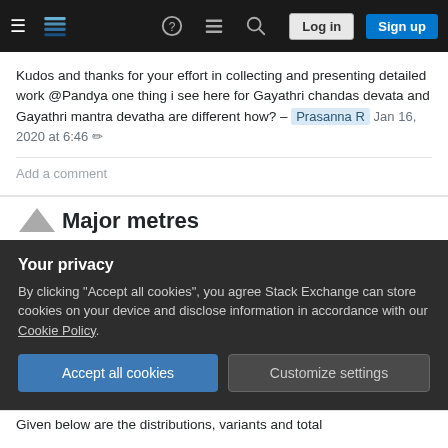Stack Exchange navigation bar with Log in and Sign up buttons
Kudos and thanks for your effort in collecting and presenting detailed work @Pandya one thing i see here for Gayathri chandas devata and Gayathri mantra devatha are different how? – Prasanna R Jan 16, 2020 at 6:46
Add a comment
Major metres
The major Vedic Chandahs are 7 in number. They are - Gayatri, Ushnik, Anushtup, Brihati, Pangkti,
Your privacy
By clicking "Accept all cookies", you agree Stack Exchange can store cookies on your device and disclose information in accordance with our Cookie Policy.
Accept all cookies   Customize settings
Given below are the distributions, variants and total